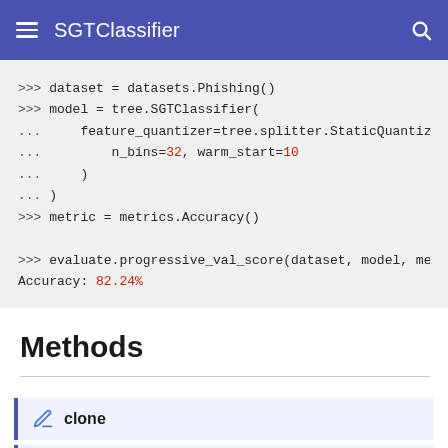SGTClassifier
>>> dataset = datasets.Phishing()
>>> model = tree.SGTClassifier(
...     feature_quantizer=tree.splitter.StaticQuantize
...         n_bins=32, warm_start=10
...     )
... )
>>> metric = metrics.Accuracy()

>>> evaluate.progressive_val_score(dataset, model, met
Accuracy: 82.24%
Methods
clone